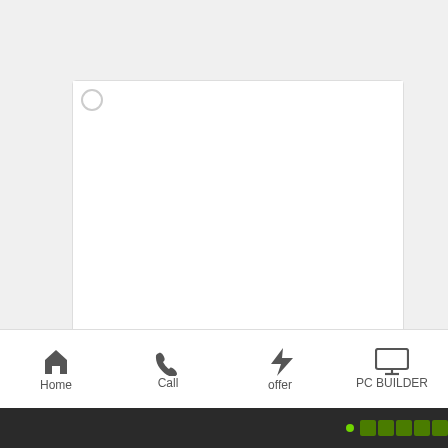[Figure (screenshot): Product card for Totolink N150RT network router with image placeholder, category label, product name, old price struck through, new price, and add-to-cart button]
NETWORK ROUTER
Totolink N150RT 150 Mbps Ethernet Single-Band Wi...
৳1,610.00 (strikethrough) ৳1,400.00
Home   Call   offer   PC BUILDER